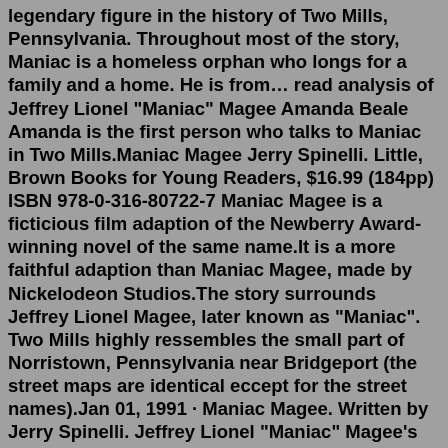legendary figure in the history of Two Mills, Pennsylvania. Throughout most of the story, Maniac is a homeless orphan who longs for a family and a home. He is from… read analysis of Jeffrey Lionel "Maniac" Magee Amanda Beale Amanda is the first person who talks to Maniac in Two Mills.Maniac Magee Jerry Spinelli. Little, Brown Books for Young Readers, $16.99 (184pp) ISBN 978-0-316-80722-7 Maniac Magee is a ficticious film adaption of the Newberry Award-winning novel of the same name.It is a more faithful adaption than Maniac Magee, made by Nickelodeon Studios.The story surrounds Jeffrey Lionel Magee, later known as "Maniac". Two Mills highly ressembles the small part of Norristown, Pennsylvania near Bridgeport (the street maps are identical eccept for the street names).Jan 01, 1991 · Maniac Magee. Written by Jerry Spinelli. Jeffrey Lionel "Maniac" Magee's life took a strange turn after his parents died and left him an orphan. He lived with his aunt and uncle for eight years, but then he decided to run away. In his travels, he helped bring